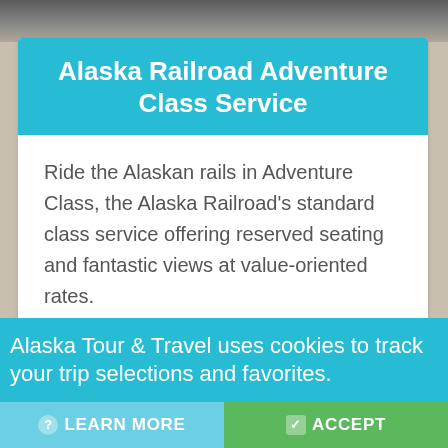[Figure (photo): Partial photo of an Alaskan mountain/nature scene visible at the top of the page]
Alaska Railroad Adventure Class Service
Ride the Alaskan rails in Adventure Class, the Alaska Railroad's standard class service offering reserved seating and fantastic views at value-oriented rates.
Learn More >
Alaska Tour & Travel uses cookies to track your trip selections and favorites.
LEARN MORE
ACCEPT